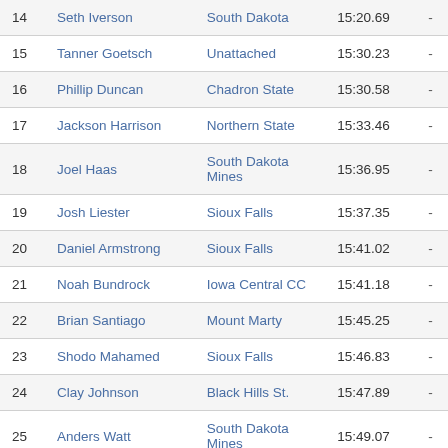| # | Name | Team | Time |  |
| --- | --- | --- | --- | --- |
| 14 | Seth Iverson | South Dakota | 15:20.69 | - |
| 15 | Tanner Goetsch | Unattached | 15:30.23 | - |
| 16 | Phillip Duncan | Chadron State | 15:30.58 | - |
| 17 | Jackson Harrison | Northern State | 15:33.46 | - |
| 18 | Joel Haas | South Dakota Mines | 15:36.95 | - |
| 19 | Josh Liester | Sioux Falls | 15:37.35 | - |
| 20 | Daniel Armstrong | Sioux Falls | 15:41.02 | - |
| 21 | Noah Bundrock | Iowa Central CC | 15:41.18 | - |
| 22 | Brian Santiago | Mount Marty | 15:45.25 | - |
| 23 | Shodo Mahamed | Sioux Falls | 15:46.83 | - |
| 24 | Clay Johnson | Black Hills St. | 15:47.89 | - |
| 25 | Anders Watt | South Dakota Mines | 15:49.07 | - |
| 26 | Ray Munsterman | UNAT-South Dakota St. | 15:52.85 | - |
| 27 | Mitchell Mund | Sioux Falls | 15:54.86 | - |